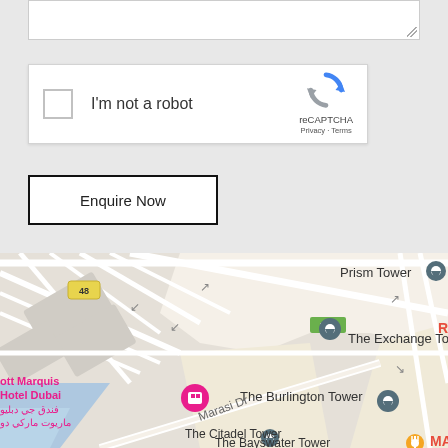[Figure (screenshot): Partially visible text area input box with resize handle at bottom right]
[Figure (screenshot): Google reCAPTCHA widget with checkbox labeled 'I'm not a robot' and reCAPTCHA logo with Privacy and Terms links]
Enquire Now
[Figure (map): Google Maps screenshot showing area around Business Bay, Dubai with labeled locations: Prism Tower, The Exchange Tower, The Burlington Tower, The Citadel Tower, The Bayswater Tower, Marasi Dr road, D86 road marker, route 48, and JW Marriott Marquis Hotel Dubai in Arabic and English, with a blue water body (Dubai Canal) at bottom left]